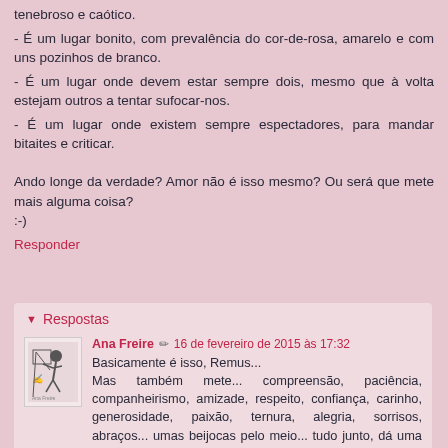tenebroso e caótico.
- É um lugar bonito, com prevalência do cor-de-rosa, amarelo e com uns pozinhos de branco.
- É um lugar onde devem estar sempre dois, mesmo que à volta estejam outros a tentar sufocar-nos.
- É um lugar onde existem sempre espectadores, para mandar bitaites e criticar.
Ando longe da verdade? Amor não é isso mesmo? Ou será que mete mais alguma coisa?
:-)
Responder
Respostas
Ana Freire  16 de fevereiro de 2015 às 17:32
Basicamente é isso, Remus...
Mas também mete... compreensão, paciência, companheirismo, amizade, respeito, confiança, carinho, generosidade, paixão, ternura, alegria, sorrisos, abraços... umas beijocas pelo meio... tudo junto, dá uma caldeirada danada de